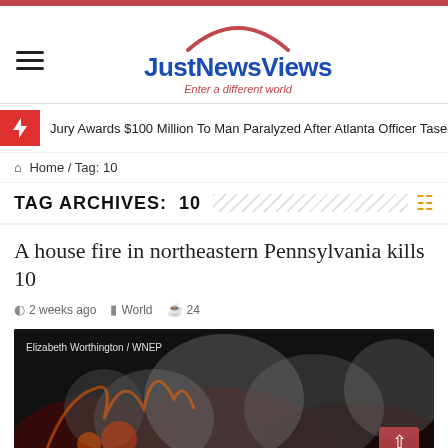[Figure (logo): JustNewsViews logo with arc graphic and tagline 'Enter a different world']
Jury Awards $100 Million To Man Paralyzed After Atlanta Officer Tased Him
Home / Tag: 10
TAG ARCHIVES: 10
A house fire in northeastern Pennsylvania kills 10
2 weeks ago  World  24
[Figure (photo): Night scene of a house fire with smoke and flames, credit: Elizabeth Worthington / WNEP]